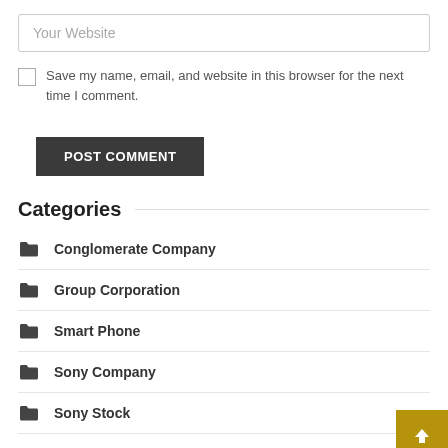Your Website
Save my name, email, and website in this browser for the next time I comment.
POST COMMENT
Categories
Conglomerate Company
Group Corporation
Smart Phone
Sony Company
Sony Stock